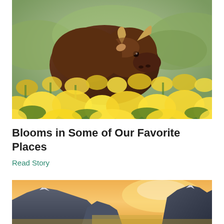[Figure (photo): A bison surrounded by bright yellow wildflowers in a green meadow, photographed from a low angle so the flowers fill the foreground.]
Blooms in Some of Our Favorite Places
Read Story
[Figure (photo): Mountain landscape at sunset with snow-capped peaks, rocky cliffs, and a warm orange sky in the background.]